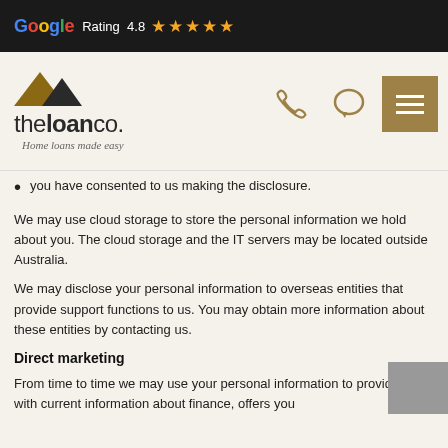Google Rating 4.8 ★★★★★
[Figure (logo): The Loan Co. logo with rooftop icon and tagline 'Home loans made easy']
you have consented to us making the disclosure.
We may use cloud storage to store the personal information we hold about you. The cloud storage and the IT servers may be located outside Australia.
We may disclose your personal information to overseas entities that provide support functions to us. You may obtain more information about these entities by contacting us.
Direct marketing
From time to time we may use your personal information to provide you with current information about finance, offers you may…